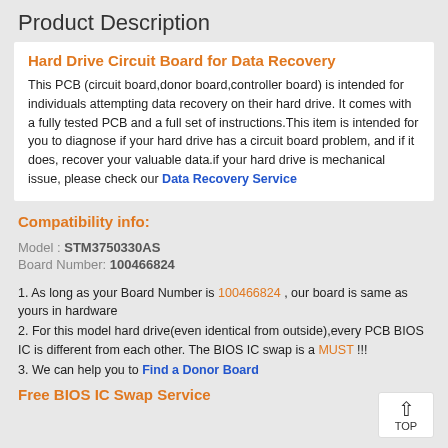Product Description
Hard Drive Circuit Board for Data Recovery
This PCB (circuit board,donor board,controller board) is intended for individuals attempting data recovery on their hard drive. It comes with a fully tested PCB and a full set of instructions.This item is intended for you to diagnose if your hard drive has a circuit board problem, and if it does, recover your valuable data.if your hard drive is mechanical issue, please check our Data Recovery Service
Compatibility info:
Model : STM3750330AS
Board Number: 100466824
1. As long as your Board Number is 100466824 , our board is same as yours in hardware
2. For this model hard drive(even identical from outside),every PCB BIOS IC is different from each other. The BIOS IC swap is a MUST !!!
3. We can help you to Find a Donor Board
Free BIOS IC Swap Service